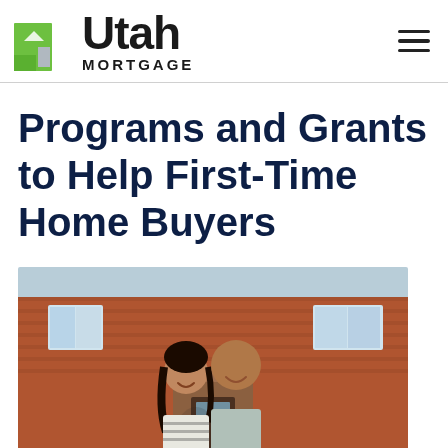Utah Mortgage
Programs and Grants to Help First-Time Home Buyers
[Figure (photo): A smiling couple (man and woman) standing in front of a brick house, appearing happy as first-time home buyers]